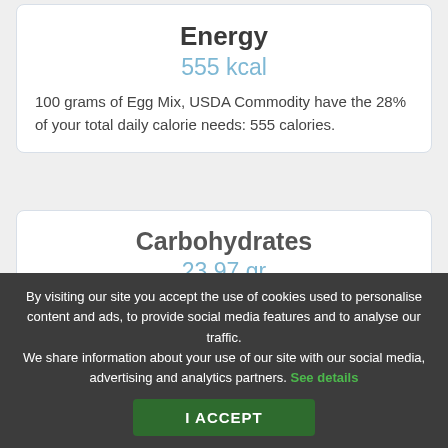Energy
555 kcal
100 grams of Egg Mix, USDA Commodity have the 28% of your total daily calorie needs: 555 calories.
Carbohydrates
23.97 gr
An average adults needs 300 grams of carbohydrates per
By visiting our site you accept the use of cookies used to personalise content and ads, to provide social media features and to analyse our traffic. We share information about your use of our site with our social media, advertising and analytics partners. See details
I ACCEPT